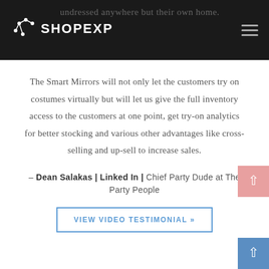SHOPEXP — undressed anywhere but their own home.
The Smart Mirrors will not only let the customers try on costumes virtually but will let us give the full inventory access to the customers at one point, get try-on analytics for better stocking and various other advantages like cross-selling and up-sell to increase sales.
– Dean Salakas | Linked In | Chief Party Dude at The Party People
VIEW VIDEO TESTIMONIAL »